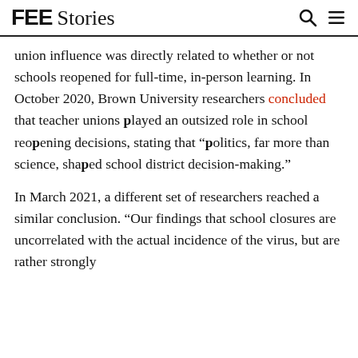FEE Stories
union influence was directly related to whether or not schools reopened for full-time, in-person learning. In October 2020, Brown University researchers concluded that teacher unions played an outsized role in school reopening decisions, stating that “politics, far more than science, shaped school district decision-making.”
In March 2021, a different set of researchers reached a similar conclusion. “Our findings that school closures are uncorrelated with the actual incidence of the virus, but are rather strongly